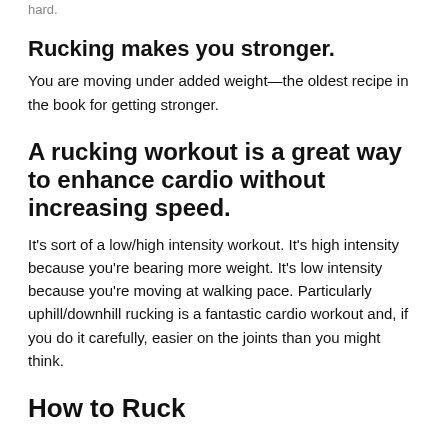hard.
Rucking makes you stronger.
You are moving under added weight—the oldest recipe in the book for getting stronger.
A rucking workout is a great way to enhance cardio without increasing speed.
It's sort of a low/high intensity workout. It's high intensity because you're bearing more weight. It's low intensity because you're moving at walking pace. Particularly uphill/downhill rucking is a fantastic cardio workout and, if you do it carefully, easier on the joints than you might think.
How to Ruck